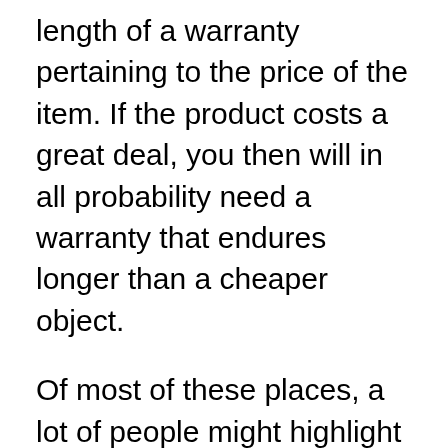length of a warranty pertaining to the price of the item. If the product costs a great deal, you then will in all probability need a warranty that endures longer than a cheaper object.
Of most of these places, a lot of people might highlight one over yet another. For instance, some people do not really care regarding how they are handled when they buy items. Others could imagine specific items are the same, and that they probably functionality similarly enough that selecting between them fails to create a significant variation. Many individuals appear to think that a warranty is just pointless